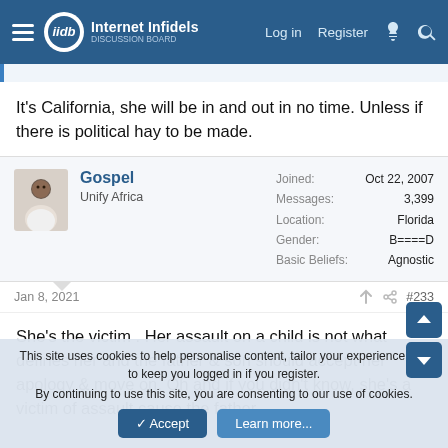Internet Infidels | Log in | Register
It's California, she will be in and out in no time. Unless if there is political hay to be made.
Gospel
Unify Africa
Joined: Oct 22, 2007
Messages: 3,399
Location: Florida
Gender: B====D
Basic Beliefs: Agnostic
Jan 8, 2021  #233
She's the victim . Her assault on a child is not what defines her and the father & son should accept her apology & move on. Oh and if you didn't know, she's a victim of assault cause the father
This site uses cookies to help personalise content, tailor your experience and to keep you logged in if you register.
By continuing to use this site, you are consenting to our use of cookies.